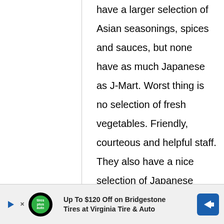have a larger selection of Asian seasonings, spices and sauces, but none have as much Japanese as J-Mart. Worst thing is no selection of fresh vegetables. Friendly, courteous and helpful staff. They also have a nice selection of Japanese videos. I can't
[Figure (other): Advertisement banner: Up To $120 Off on Bridgestone Tires at Virginia Tire & Auto, with Tires Plus logo and blue arrow icon]